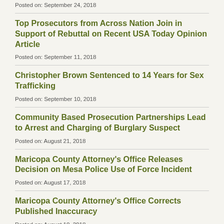Posted on: September 24, 2018
Top Prosecutors from Across Nation Join in Support of Rebuttal on Recent USA Today Opinion Article
Posted on: September 11, 2018
Christopher Brown Sentenced to 14 Years for Sex Trafficking
Posted on: September 10, 2018
Community Based Prosecution Partnerships Lead to Arrest and Charging of Burglary Suspect
Posted on: August 21, 2018
Maricopa County Attorney's Office Releases Decision on Mesa Police Use of Force Incident
Posted on: August 17, 2018
Maricopa County Attorney's Office Corrects Published Inaccuracy
Posted on: August 10, 2018